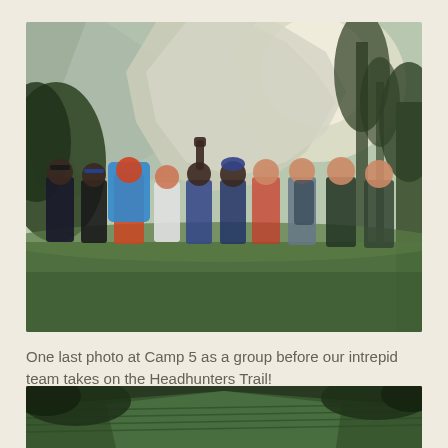[Figure (photo): Group of hikers posing in front of dramatic limestone cliffs with lush green jungle vegetation. About 9-10 people standing on grass, some with large backpacks, one person raising a fist. Misty sunlight behind the rocky cliffs.]
One last photo at Camp 5 as a group before our intrepid team takes on the Headhunters Trail!
[Figure (photo): Partial view of a rooftop structure with green corrugated metal roof, surrounded by tropical vegetation.]